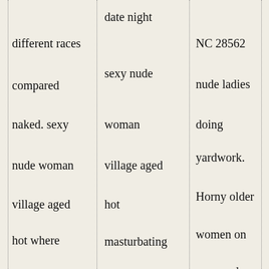different races
compared
naked. sexy
nude woman
village aged
hot where
people meet
for sex in the
date night
sexy nude
woman
village aged
hot
masturbating
on computer.
Free pussy to
NC 28562
nude ladies
doing
yardwork.
Horny older
women on
sexy nude
woman